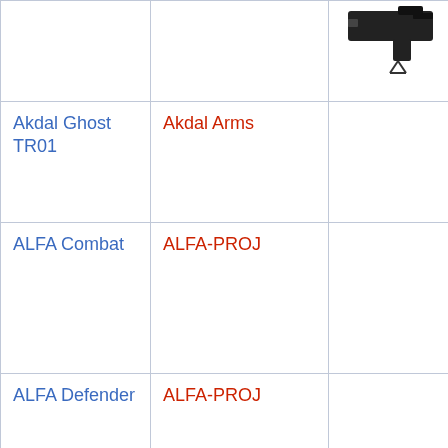| Model | Manufacturer | Image |
| --- | --- | --- |
|  |  | (gun image) |
| Akdal Ghost TR01 | Akdal Arms |  |
| ALFA Combat | ALFA-PROJ |  |
| ALFA Defender | ALFA-PROJ |  |
| AMT AutoMag II | Arcadia Machine & Tool |  |
|  |  | (bottom image) |